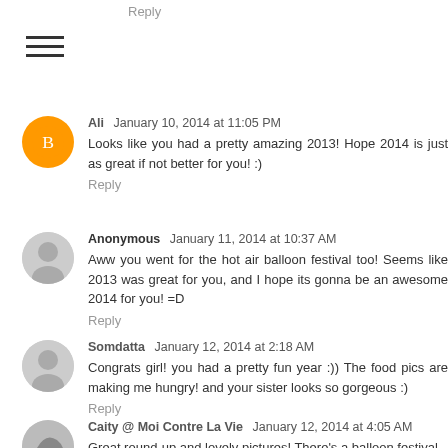Reply
Ali January 10, 2014 at 11:05 PM
Looks like you had a pretty amazing 2013! Hope 2014 is just as great if not better for you! :)
Reply
Anonymous January 11, 2014 at 10:37 AM
Aww you went for the hot air balloon festival too! Seems like 2013 was great for you, and I hope its gonna be an awesome 2014 for you! =D
Reply
Somdatta January 12, 2014 at 2:18 AM
Congrats girl! you had a pretty fun year :)) The food pics are making me hungry! and your sister looks so gorgeous :)
Reply
Caity @ Moi Contre La Vie January 12, 2014 at 4:05 AM
Great round-up and lovely pictures! There's a balloon festival